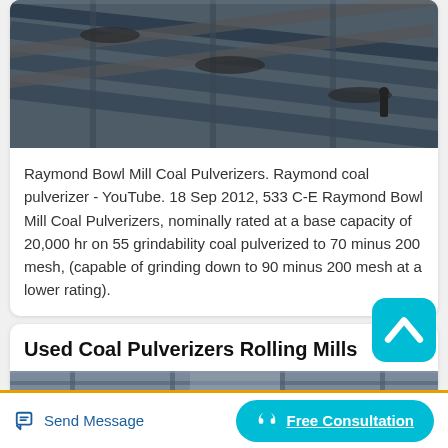[Figure (photo): Aerial view of industrial coal conveyor belts with workers visible, top portion visible at top of page]
Raymond Bowl Mill Coal Pulverizers. Raymond coal pulverizer - YouTube. 18 Sep 2012, 533 C-E Raymond Bowl Mill Coal Pulverizers, nominally rated at a base capacity of 20,000 hr on 55 grindability coal pulverized to 70 minus 200 mesh, (capable of grinding down to 90 minus 200 mesh at a lower rating).
Used Coal Pulverizers Rolling Mills
[Figure (photo): Industrial facility interior with steel structures and machinery, partially visible at bottom]